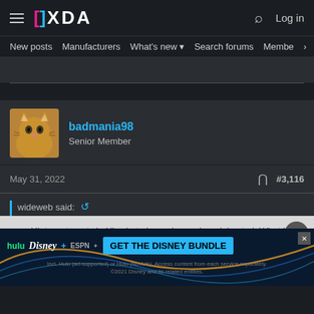XDA Forums navigation bar with logo, search, and Log in
New posts  Manufacturers  What's new  Search forums  Membe  >
[Figure (screenshot): Partial scrolled content area, gray bar]
badmania98
Senior Member
May 31, 2022  #3,116
wideweb said:
Hi, try... to get via Hi... but alwa... ion and model noted. What is going wrong?
[Figure (infographic): Disney Bundle advertisement: Hulu, Disney+, ESPN+. GET THE DISNEY BUNDLE. Incl. Hulu (ad-supported) or Hulu (No Ads). Access content from each service separately. ©2021 Disney and its related entities.]